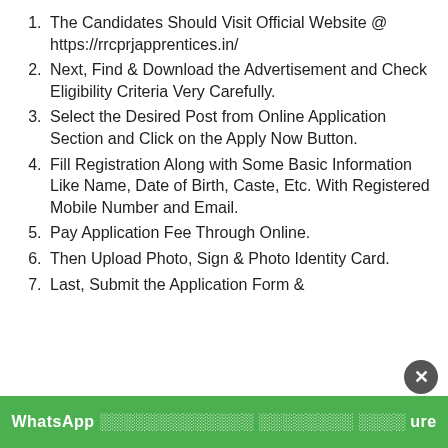The Candidates Should Visit Official Website @ https://rrcprjapprentices.in/
Next, Find & Download the Advertisement and Check Eligibility Criteria Very Carefully.
Select the Desired Post from Online Application Section and Click on the Apply Now Button.
Fill Registration Along with Some Basic Information Like Name, Date of Birth, Caste, Etc. With Registered Mobile Number and Email.
Pay Application Fee Through Online.
Then Upload Photo, Sign & Photo Identity Card.
Last, Submit the Application Form &
[Figure (other): WhatsApp promotional banner with green background and close button overlay at bottom of page]